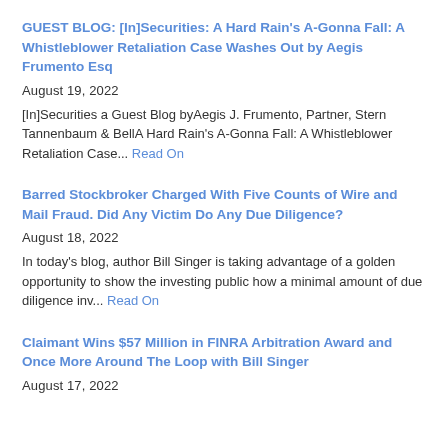GUEST BLOG: [In]Securities: A Hard Rain's A-Gonna Fall: A Whistleblower Retaliation Case Washes Out by Aegis Frumento Esq
August 19, 2022
[In]Securities a Guest Blog byAegis J. Frumento, Partner, Stern Tannenbaum & BellA Hard Rain's A-Gonna Fall: A Whistleblower Retaliation Case... Read On
Barred Stockbroker Charged With Five Counts of Wire and Mail Fraud. Did Any Victim Do Any Due Diligence?
August 18, 2022
In today's blog, author Bill Singer is taking advantage of a golden opportunity to show the investing public how a minimal amount of due diligence inv... Read On
Claimant Wins $57 Million in FINRA Arbitration Award and Once More Around The Loop with Bill Singer
August 17, 2022